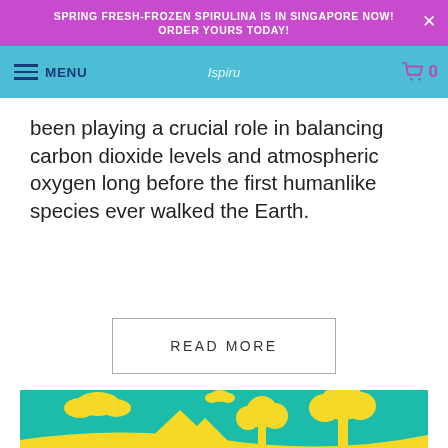SPRING FRESH-FROZEN SPIRULINA IS IN SINGAPORE NOW! ORDER YOURS TODAY!
been playing a crucial role in balancing carbon dioxide levels and atmospheric oxygen long before the first humanlike species ever walked the Earth.
READ MORE
[Figure (illustration): Teal/turquoise background with yellow flat-design nature illustration showing clouds, mountains, trees, and landscape scenery.]